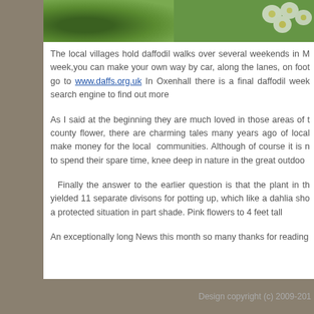[Figure (photo): Photo strip at top showing green foliage and white flowers]
The local villages hold daffodil walks over several weekends in M week,you can make your own way by car, along the lanes, on foot go to www.daffs.org.uk  In Oxenhall there is a final daffodil week search engine to find out more
As I said at the beginning they are much loved in those areas of t county flower, there are charming tales many years ago of local make money for the local  communities. Although of course it is n to spend their spare time, knee deep in nature in the great outdoo
Finally the answer to the earlier question is that the plant in th yielded 11 separate divisons for potting up, which like a dahlia sho a protected situation in part shade. Pink flowers to 4 feet tall
An exceptionally long News this month so many thanks for reading
Design copyright (c) 2009-201